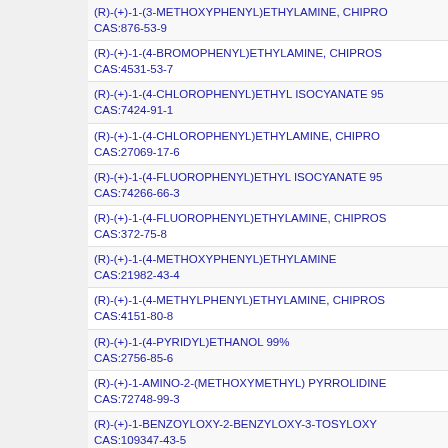(R)-(+)-1-(3-METHOXYPHENYL)ETHYLAMINE, CHIPRO
CAS:876-53-9
(R)-(+)-1-(4-BROMOPHENYL)ETHYLAMINE, CHIPROS
CAS:4531-53-7
(R)-(+)-1-(4-CHLOROPHENYL)ETHYL ISOCYANATE 95
CAS:7424-91-1
(R)-(+)-1-(4-CHLOROPHENYL)ETHYLAMINE, CHIPRO
CAS:27069-17-6
(R)-(+)-1-(4-FLUOROPHENYL)ETHYL ISOCYANATE 95
CAS:74266-66-3
(R)-(+)-1-(4-FLUOROPHENYL)ETHYLAMINE, CHIPROS
CAS:372-75-8
(R)-(+)-1-(4-METHOXYPHENYL)ETHYLAMINE
CAS:21982-43-4
(R)-(+)-1-(4-METHYLPHENYL)ETHYLAMINE, CHIPROS
CAS:4151-80-8
(R)-(+)-1-(4-PYRIDYL)ETHANOL 99%
CAS:2756-85-6
(R)-(+)-1-AMINO-2-(METHOXYMETHYL) PYRROLIDINE
CAS:72748-99-3
(R)-(+)-1-BENZOYLOXY-2-BENZYLOXY-3-TOSYLOXY
CAS:109347-43-5
(R)-(+)-1-BENZYL-3-PYRROLIDINOL
CAS:10191-81-1
(R)-(+)-1-BENZYLOXY-BUTANE-2-OL
CAS:128676-84-6
(R)-(+)-1-BOC-2-CYANOPYRROLIDINE 97%